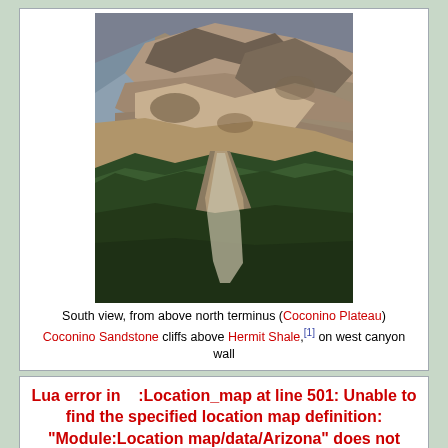[Figure (photo): Aerial south view photograph of a canyon showing rocky cliffs with Coconino Sandstone above Hermit Shale on a forested mountainside, viewed from above the north terminus near Coconino Plateau.]
South view, from above north terminus (Coconino Plateau) Coconino Sandstone cliffs above Hermit Shale,[1] on west canyon wall
Lua error in Module:Location_map at line 501: Unable to find the specified location map definition: "Module:Location map/data/Arizona" does not exist